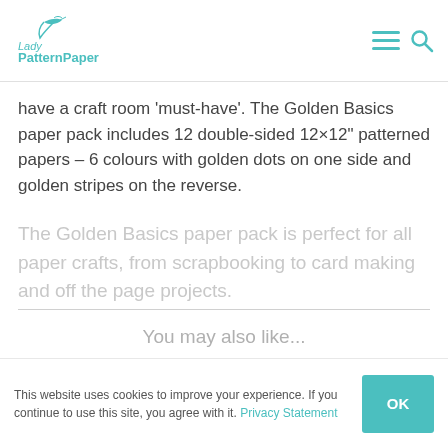Lady Pattern Paper
have a craft room ‘must-have’. The Golden Basics paper pack includes 12 double-sided 12×12” patterned papers – 6 colours with golden dots on one side and golden stripes on the reverse.
The Golden Basics paper pack is perfect for all paper crafts, from scrapbooking to card making and off the page projects.
You may also like...
This website uses cookies to improve your experience. If you continue to use this site, you agree with it. Privacy Statement